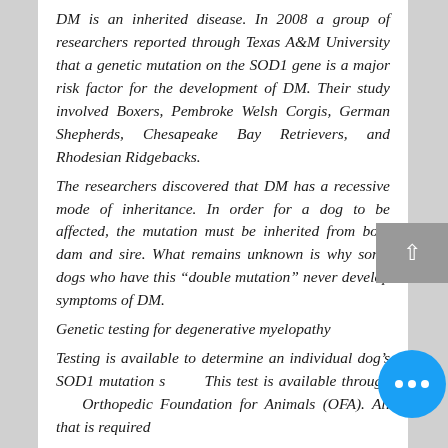DM is an inherited disease. In 2008 a group of researchers reported through Texas A&M University that a genetic mutation on the SOD1 gene is a major risk factor for the development of DM. Their study involved Boxers, Pembroke Welsh Corgis, German Shepherds, Chesapeake Bay Retrievers, and Rhodesian Ridgebacks.
The researchers discovered that DM has a recessive mode of inheritance. In order for a dog to be affected, the mutation must be inherited from both dam and sire. What remains unknown is why some dogs who have this “double mutation” never develop symptoms of DM.
Genetic testing for degenerative myelopathy
Testing is available to determine an individual dog’s SOD1 mutation s… This test is available throug… Orthopedic Foundation for Animals (OFA). All that is required…